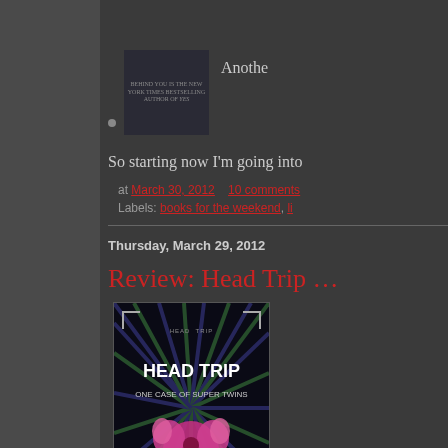[Figure (photo): Partial book cover visible at top, dark themed]
Anothe
So starting now I'm going into
at March 30, 2012   10 comments
Labels: books for the weekend, li
Thursday, March 29, 2012
Review: Head Trip
[Figure (photo): Book cover for Head Trip: One Case of Super Twins by Jack Eadon. Dark background with sunburst rays in blue and green, pink creature/character in center, bracket corners.]